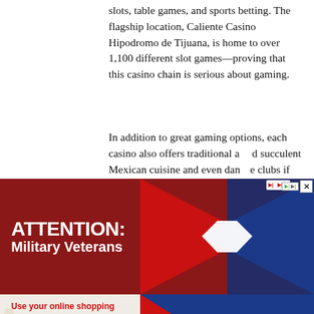slots, table games, and sports betting. The flagship location, Caliente Casino Hipodromo de Tijuana, is home to over 1,100 different slot games—proving that this casino chain is serious about gaming.
In addition to great gaming options, each casino also offers traditional and succulent Mexican cuisine and even dance clubs if [text continues behind ad]
[Figure (other): Advertisement overlay for AAFES Exchange featuring 'ATTENTION: Military Veterans' banner with an X logo and 'Use your online shopping benefits and SAVE on ASHLEY furniture at the EXCHANGE' with a 'SHOP NOW' button and 'PAY Your WAY MILITARY STAR' branding. Behind the ad is partially visible article text.]
| Baja [section heading partially visible] ...and 400 Las [casino] lets ...ile enjoying ...nce you're ...done gaming, you can enjoy relaxing and